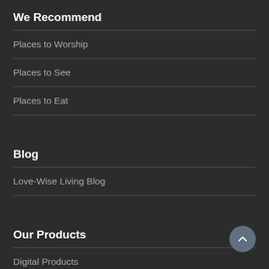We Recommend
Places to Worship
Places to See
Places to Eat
Blog
Love-Wise Living Blog
Our Products
Digital Products
Books